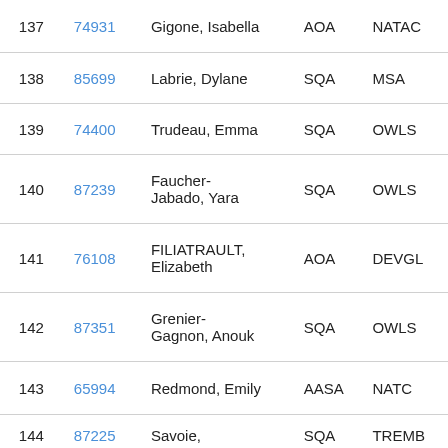| # | ID | Name | Code1 | Code2 |
| --- | --- | --- | --- | --- |
| 137 | 74931 | Gigone, Isabella | AOA | NATAC |
| 138 | 85699 | Labrie, Dylane | SQA | MSA |
| 139 | 74400 | Trudeau, Emma | SQA | OWLS |
| 140 | 87239 | Faucher-Jabado, Yara | SQA | OWLS |
| 141 | 76108 | FILIATRAULT, Elizabeth | AOA | DEVGL |
| 142 | 87351 | Grenier-Gagnon, Anouk | SQA | OWLS |
| 143 | 65994 | Redmond, Emily | AASA | NATC |
| 144 | 87225 | Savoie, | SQA | TREMB |